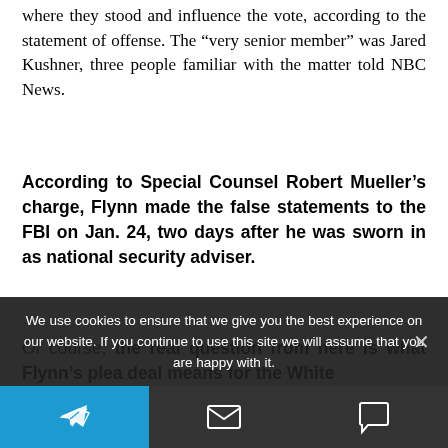where they stood and influence the vote, according to the statement of offense. The “very senior member” was Jared Kushner, three people familiar with the matter told NBC News.
According to Special Counsel Robert Mueller’s charge, Flynn made the false statements to the FBI on Jan. 24, two days after he was sworn in as national security adviser.
Of course, the real question from here is what Flynn’s plea deal means for the White
We use cookies to ensure that we give you the best experience on our website. If you continue to use this site we will assume that you are happy with it.
[Telegram share] [Email share] [Comment]